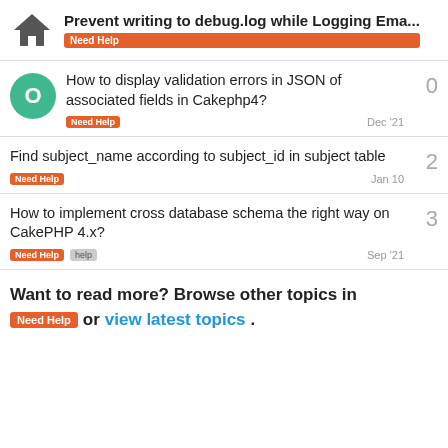Prevent writing to debug.log while Logging Ema... | Need Help
How to display validation errors in JSON of associated fields in Cakephp4? | Need Help | Dec '21 | 0 replies
Find subject_name according to subject_id in subject table | Need Help | Jan 10 | 2 replies
How to implement cross database schema the right way on CakePHP 4.x? | Need Help | help | Sep '21 | 3 replies
Want to read more? Browse other topics in Need Help or view latest topics.